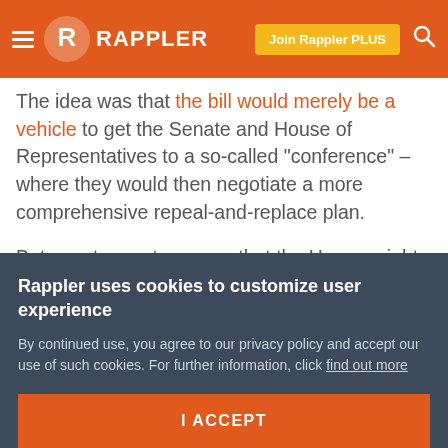RAPPLER
The idea was that the bill would merely be a vehicle to get the Senate and House of Representatives to a so-called "conference" – where they would then negotiate a more comprehensive repeal-and-replace plan.
But senators got nervous that the House might turn around and simply pass the Senate draft, thereby sending it to President Donald Trump for his signature.
"There's an increasing concern on my part and others that what the House will do is take whatever we pass, vote on
Rappler uses cookies to customize user experience
By continued use, you agree to our privacy policy and accept our use of such cookies. For further information, click find out more
I ACCEPT